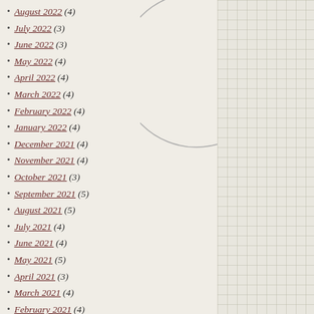August 2022 (4)
July 2022 (3)
June 2022 (3)
May 2022 (4)
April 2022 (4)
March 2022 (4)
February 2022 (4)
January 2022 (4)
December 2021 (4)
November 2021 (4)
October 2021 (3)
September 2021 (5)
August 2021 (5)
July 2021 (4)
June 2021 (4)
May 2021 (5)
April 2021 (3)
March 2021 (4)
February 2021 (4)
January 2021 (5)
December 2020 (4)
November 2020 (4)
October 2020 (4)
September 2020 (4)
August 2020 (5)